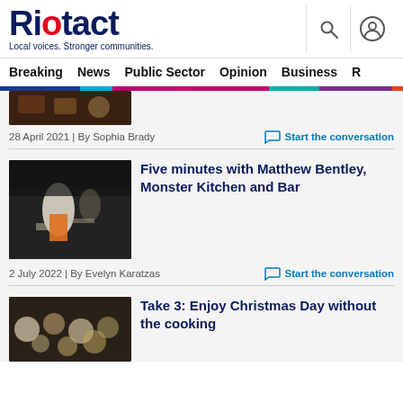Riotact — Local voices. Stronger communities.
Breaking | News | Public Sector | Opinion | Business | R...
28 April 2021 | By Sophia Brady
Start the conversation
Five minutes with Matthew Bentley, Monster Kitchen and Bar
2 July 2022 | By Evelyn Karatzas
Start the conversation
Take 3: Enjoy Christmas Day without the cooking